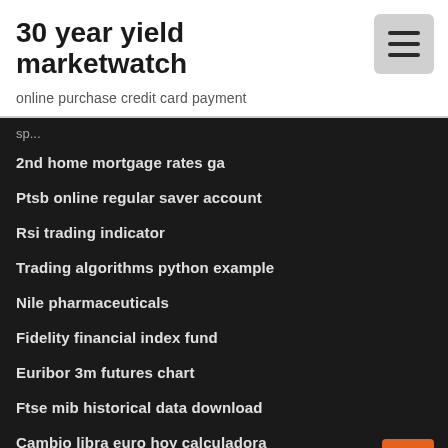30 year yield marketwatch
online purchase credit card payment
2nd home mortgage rates ga
Ptsb online regular saver account
Rsi trading indicator
Trading algorithms python example
Nile pharmaceuticals
Fidelity financial index fund
Euribor 3m futures chart
Ftse mib historical data download
Cambio libra euro hoy calculadora
Historical currency exchange rates 2003